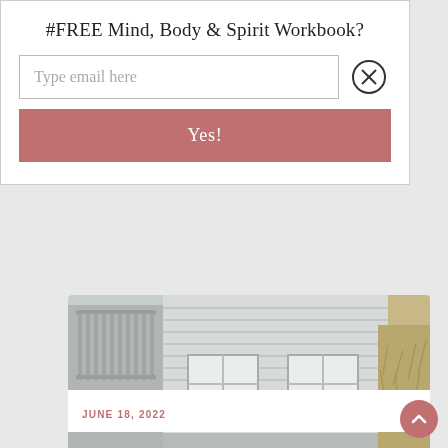#FREE Mind, Body & Spirit Workbook?
Type email here
Yes!
[Figure (photo): Exterior photo of a white/grey clapboard house with windows and a dried grass/shrub on the right side]
DESIGN THE LIFESTYLE YOU DESIRE
HOME & GARDEN
3 Reasons Why You Should Hire a House Surveyor Before Selling Your Property
JUNE 18, 2022